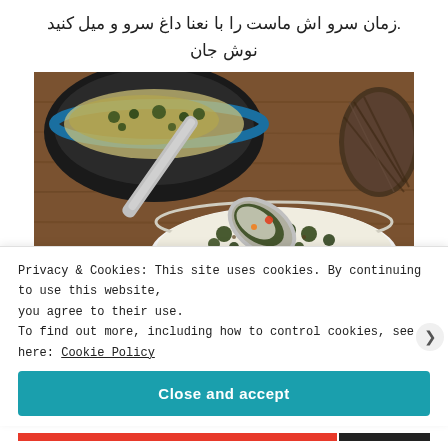.زمان سرو اش ماست را با نعنا داغ سرو و میل کنید
نوش جان
[Figure (photo): A white bowl containing a yogurt-based dish with herbs and toppings, with a spoon being used to serve it. Another dark bowl is visible in the background on a wooden surface.]
Privacy & Cookies: This site uses cookies. By continuing to use this website, you agree to their use.
To find out more, including how to control cookies, see here: Cookie Policy
Close and accept